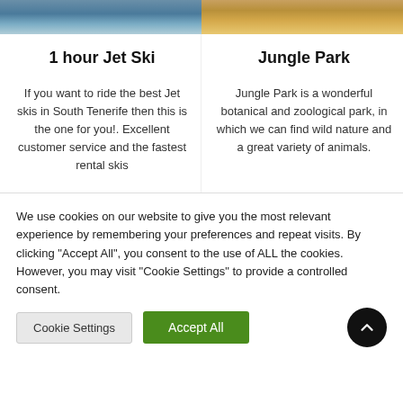[Figure (photo): Top left photo showing water/sea scene (jet ski context)]
[Figure (photo): Top right photo showing sandy/animal scene (jungle park context)]
1 hour Jet Ski
Jungle Park
If you want to ride the best Jet skis in South Tenerife then this is the one for you!. Excellent customer service and the fastest rental skis
Jungle Park is a wonderful botanical and zoological park, in which we can find wild nature and a great variety of animals.
We use cookies on our website to give you the most relevant experience by remembering your preferences and repeat visits. By clicking "Accept All", you consent to the use of ALL the cookies. However, you may visit "Cookie Settings" to provide a controlled consent.